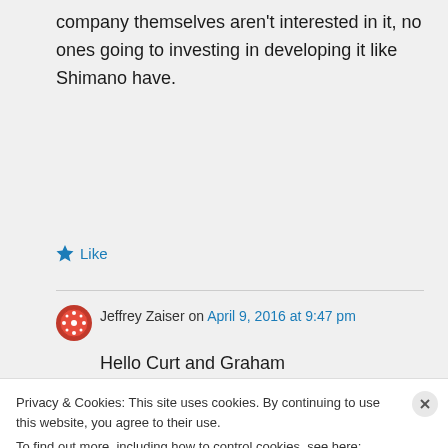company themselves aren't interested in it, no ones going to investing in developing it like Shimano have.
Like
Jeffrey Zaiser on April 9, 2016 at 9:47 pm
Hello Curt and Graham
Privacy & Cookies: This site uses cookies. By continuing to use this website, you agree to their use.
To find out more, including how to control cookies, see here: Cookie Policy
Close and accept